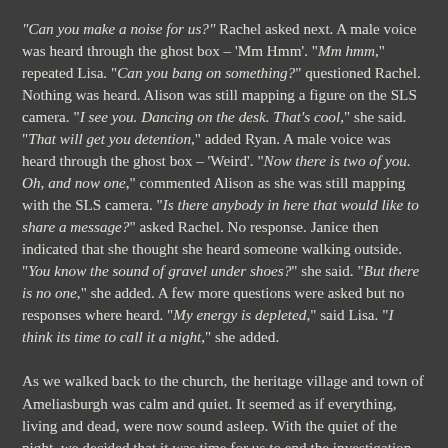"Can you make a noise for us?" Rachel asked next. A male voice was heard through the ghost box – 'Mm Hmm'. "Mm hmm," repeated Lisa. "Can you bang on something?" questioned Rachel. Nothing was heard. Alison was still mapping a figure on the SLS camera. "I see you. Dancing on the desk. That's cool," she said. "That will get you detention," added Ryan. A male voice was heard through the ghost box – 'Weird'. "Now there is two of you. Oh, and now one," commented Alison as she was still mapping with the SLS camera. "Is there anybody in here that would like to share a message?" asked Rachel. No response. Janice then indicated that she thought she heard someone walking outside. "You know the sound of gravel under shoes?" she said. "But there is no one," she added. A few more questions were asked but no responses where heard. "My energy is depleted," said Lisa. "I think its time to call it a night," she added.
As we walked back to the church, the heritage village and town of Ameliasburgh was calm and quiet. It seemed as if everything, living and dead, were now sound asleep. With the quiet of the night, we decided that it was time for us to end the investigation. The DVR cameras were taken down and packed away, equipment was